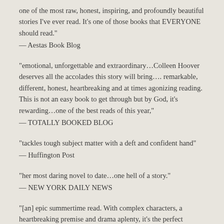one of the most raw, honest, inspiring, and profoundly beautiful stories I've ever read. It's one of those books that EVERYONE should read."
— Aestas Book Blog
“emotional, unforgettable and extraordinary…Colleen Hoover deserves all the accolades this story will bring…. remarkable, different, honest, heartbreaking and at times agonizing reading. This is not an easy book to get through but by God, it’s rewarding…one of the best reads of this year,"
— TOTALLY BOOKED BLOG
“tackles tough subject matter with a deft and confident hand"
— Huffington Post
“her most daring novel to date…one hell of a story."
— NEW YORK DAILY NEWS
“[an] epic summertime read. With complex characters, a heartbreaking premise and drama aplenty, it’s the perfect companion for a day at the beach."